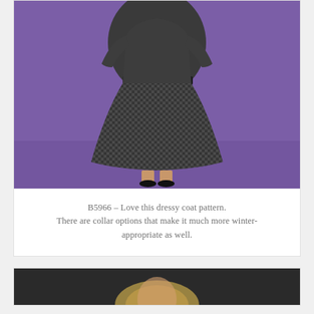[Figure (photo): A woman wearing a grey/black houndstooth check belted coat dress, mid-calf length, with black heels, photographed against a purple background. Only the body from the waist down to full length is visible.]
B5966 – Love this dressy coat pattern. There are collar options that make it much more winter-appropriate as well.
[Figure (photo): Partial photo at bottom of page showing a person with blonde hair against a dark background, cropped.]